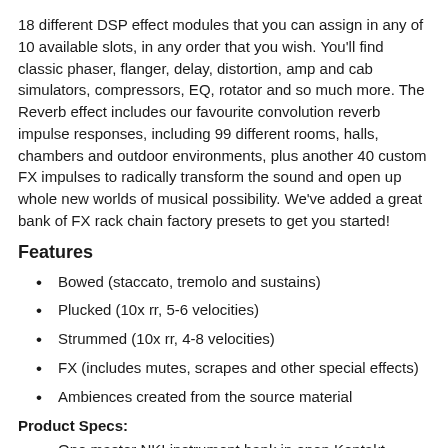18 different DSP effect modules that you can assign in any of 10 available slots, in any order that you wish. You'll find classic phaser, flanger, delay, distortion, amp and cab simulators, compressors, EQ, rotator and so much more. The Reverb effect includes our favourite convolution reverb impulse responses, including 99 different rooms, halls, chambers and outdoor environments, plus another 40 custom FX impulses to radically transform the sound and open up whole new worlds of musical possibility. We've added a great bank of FX rack chain factory presets to get you started!
Features
Bowed (staccato, tremolo and sustains)
Plucked (10x rr, 5-6 velocities)
Strummed (10x rr, 4-8 velocities)
FX (includes mutes, scrapes and other special effects)
Ambiences created from the source material
Product Specs:
One master NKI instrument bank in open Kontakt format